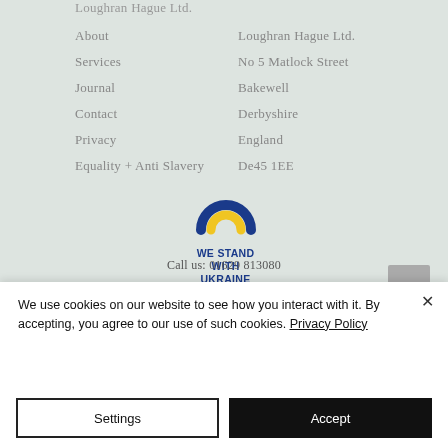Loughran Hague Ltd.
About
Services
Journal
Contact
Privacy
Equality + Anti Slavery
Loughran Hague Ltd.
No 5 Matlock Street
Bakewell
Derbyshire
England
De45 1EE
[Figure (logo): Rainbow arch logo in blue and yellow with text WE STAND WITH UKRAINE in blue bold text]
Call us: 01629 813080
We use cookies on our website to see how you interact with it. By accepting, you agree to our use of such cookies. Privacy Policy
Settings
Accept